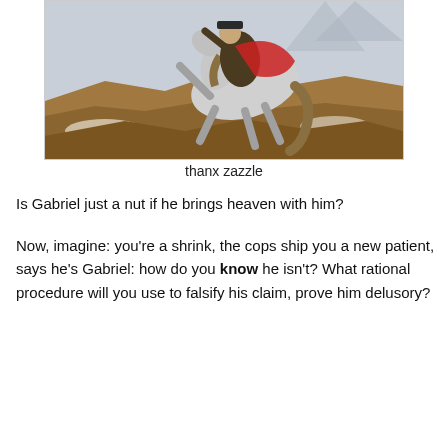[Figure (illustration): Classical painting of a military figure (Napoleon) on a rearing white horse, climbing a rocky mountain pass. The rider wears military uniform with a red cape flying behind. The horse is white/grey with dramatic posture.]
thanx zazzle
Is Gabriel just a nut if he brings heaven with him?
Now, imagine: you're a shrink, the cops ship you a new patient, says he's Gabriel: how do you know he isn't? What rational procedure will you use to falsify his claim, prove him delusory?